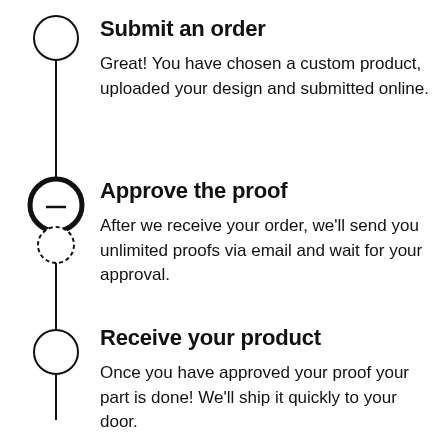[Figure (infographic): Three-step vertical timeline flowchart showing the order process: 1) Submit an order (thin circle, unfilled), 2) Approve the proof (thick bold circle with inner unfilled circle and dashed circle below it), 3) Receive your product (thin circle, unfilled). A vertical line connects all three steps.]
Submit an order
Great! You have chosen a custom product, uploaded your design and submitted online.
Approve the proof
After we receive your order, we'll send you unlimited proofs via email and wait for your approval.
Receive your product
Once you have approved your proof your part is done! We'll ship it quickly to your door.